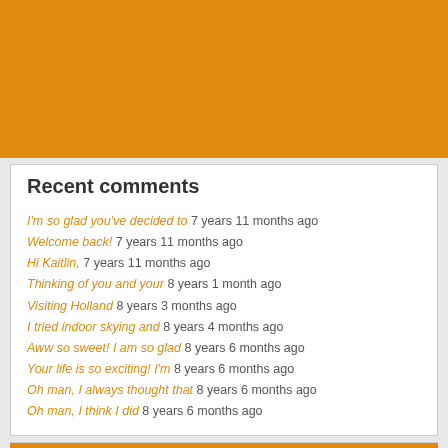[Figure (other): Orange/amber colored banner image filling the top portion of the page]
Recent comments
I'm so glad you've decided to 7 years 11 months ago
Welcome back! 7 years 11 months ago
Hi Kaitlin,  7 years 11 months ago
Thinking of you and your 8 years 1 month ago
Visiting Holland 8 years 3 months ago
I tried indoor skying and 8 years 4 months ago
Aww so sweet! I am so glad 8 years 6 months ago
Your life is so exciting! I'm 8 years 6 months ago
Oh man, I always thought that 8 years 6 months ago
Oh man, I think I did 8 years 6 months ago